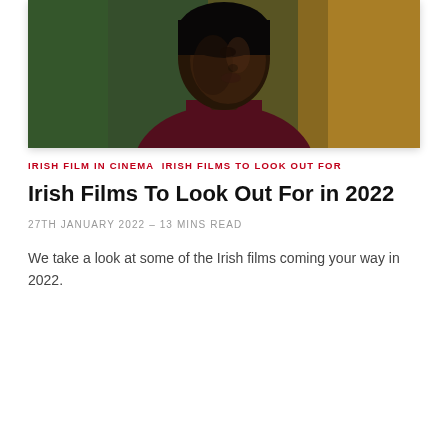[Figure (photo): Close-up portrait of a young person with dark skin wearing a dark maroon turtleneck sweater, looking to the side against a blurred green and yellow background]
IRISH FILM IN CINEMA IRISH FILMS TO LOOK OUT FOR
Irish Films To Look Out For in 2022
27TH JANUARY 2022 – 13 MINS READ
We take a look at some of the Irish films coming your way in 2022.